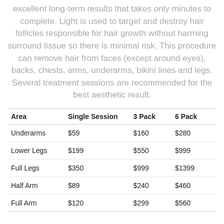excellent long-term results that takes only minutes to complete. Light is used to target and destroy hair follicles responsible for hair growth without harming surround tissue so there is minimal risk. This procedure can remove hair from faces (except around eyes), backs, chests, arms, underarms, bikini lines and legs. Several treatment sessions are recommended for the best aesthetic result.
| Area | Single Session | 3 Pack | 6 Pack |
| --- | --- | --- | --- |
| Underarms | $59 | $160 | $280 |
| Lower Legs | $199 | $550 | $999 |
| Full Legs | $350 | $999 | $1399 |
| Half Arm | $89 | $240 | $460 |
| Full Arm | $120 | $299 | $560 |